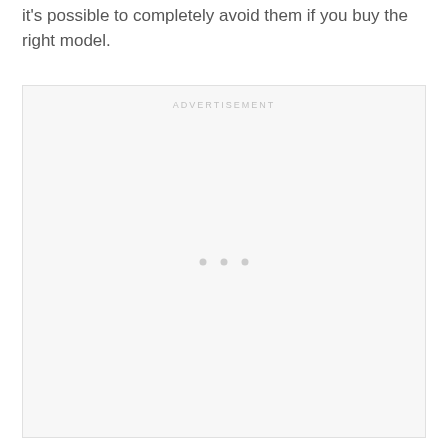it's possible to completely avoid them if you buy the right model.
[Figure (other): Advertisement placeholder box with 'ADVERTISEMENT' label at top center and three dots in the middle indicating loading or empty ad content.]